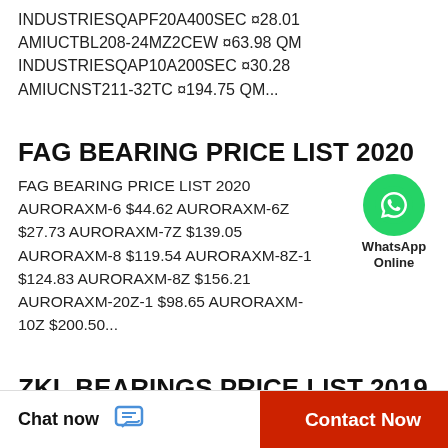INDUSTRIESQAPF20A400SEC ¤28.01 AMIUCTBL208-24MZ2CEW ¤63.98 QM INDUSTRIESQAP10A200SEC ¤30.28 AMIUCNST211-32TC ¤194.75 QM...
FAG BEARING PRICE LIST 2020
FAG BEARING PRICE LIST 2020 AURORAXM-6 $44.62 AURORAXM-6Z $27.73 AURORAXM-7Z $139.05 AURORAXM-8 $119.54 AURORAXM-8Z-1 $124.83 AURORAXM-8Z $156.21 AURORAXM-20Z-1 $98.65 AURORAXM-10Z $200.50...
[Figure (logo): WhatsApp Online green circular badge with phone icon and text 'WhatsApp Online']
ZKL BEARINGS PRICE LIST 2019
ZKL BEARINGS PRICE LIST 2019 NSK7218CTRDULP3 ¤92.16 NSK45BER19STSULP3 ¤97.36 NSK7218CTRDUMP3 ¤137.46
Chat now   Contact Now